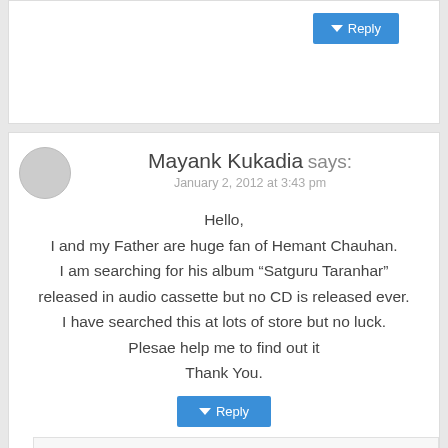[Figure (other): Top portion of a comment block showing a Reply button, partially visible]
Mayank Kukadia says:
January 2, 2012 at 3:43 pm

Hello,
I and my Father are huge fan of Hemant Chauhan.
I am searching for his album “Satguru Taranhar” released in audio cassette but no CD is released ever.
I have searched this at lots of store but no luck.
Plesae help me to find out it
Thank You.
Devang Vibhakar says:
September 2, 2013 at 9:22 am

Hello,